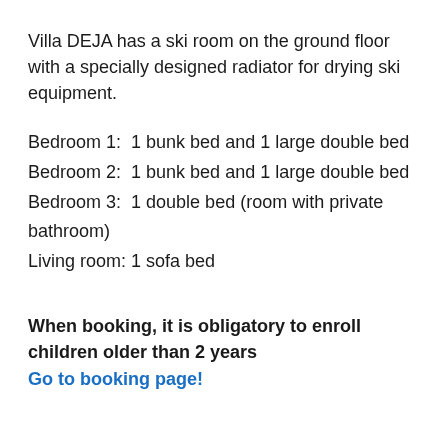Villa DEJA has a ski room on the ground floor with a specially designed radiator for drying ski equipment.
Bedroom 1:  1 bunk bed and 1 large double bed
Bedroom 2:  1 bunk bed and 1 large double bed
Bedroom 3:  1 double bed (room with private bathroom)
Living room: 1 sofa bed
When booking, it is obligatory to enroll children older than 2 years
Go to booking page!